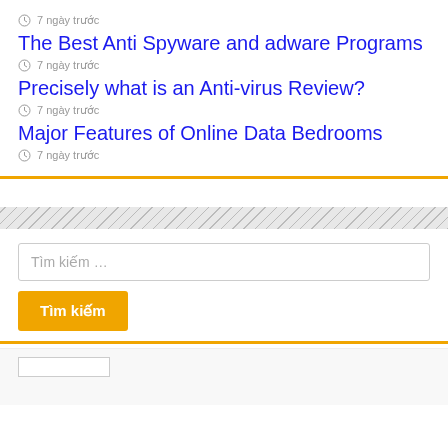7 ngày trước
The Best Anti Spyware and adware Programs
7 ngày trước
Precisely what is an Anti-virus Review?
7 ngày trước
Major Features of Online Data Bedrooms
7 ngày trước
Tìm kiếm ...
Tìm kiếm